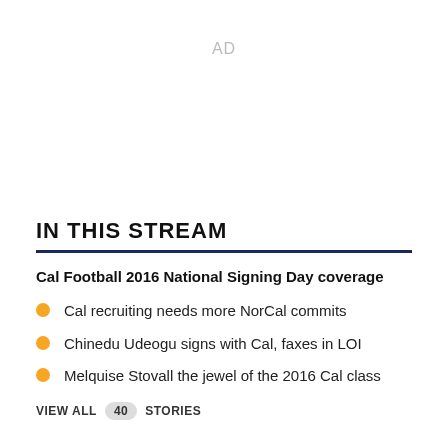AD
IN THIS STREAM
Cal Football 2016 National Signing Day coverage
Cal recruiting needs more NorCal commits
Chinedu Udeogu signs with Cal, faxes in LOI
Melquise Stovall the jewel of the 2016 Cal class
VIEW ALL 40 STORIES